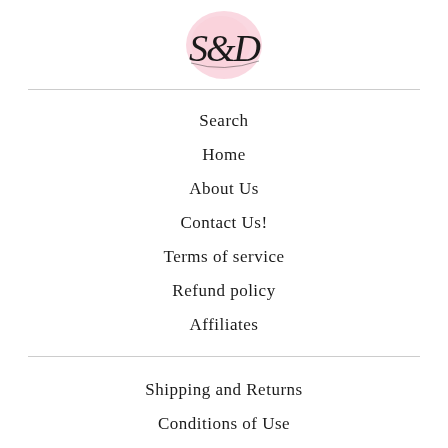[Figure (logo): Cursive script logo with pink circular watercolor background, letters S and D intertwined]
Search
Home
About Us
Contact Us!
Terms of service
Refund policy
Affiliates
Shipping and Returns
Conditions of Use